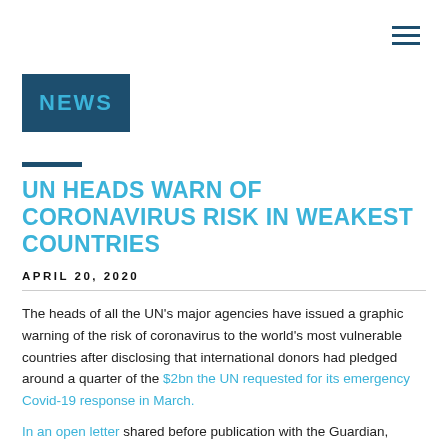[Figure (other): Hamburger menu icon (three horizontal lines) in top right corner]
[Figure (logo): Dark blue rectangle badge with cyan 'NEWS' text]
UN HEADS WARN OF CORONAVIRUS RISK IN WEAKEST COUNTRIES
APRIL 20, 2020
The heads of all the UN's major agencies have issued a graphic warning of the risk of coronavirus to the world's most vulnerable countries after disclosing that international donors had pledged around a quarter of the $2bn the UN requested for its emergency Covid-19 response in March.
In an open letter shared before publication with the Guardian,